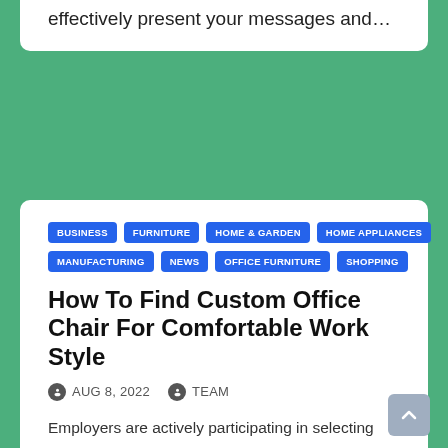effectively present your messages and…
BUSINESS  FURNITURE  HOME & GARDEN  HOME APPLIANCES  MANUFACTURING  NEWS  OFFICE FURNITURE  SHOPPING
How To Find Custom Office Chair For Comfortable Work Style
AUG 8, 2022   TEAM
Employers are actively participating in selecting what is consider to be ergonomically suitable for their employees. Office chairs manufactured promise…